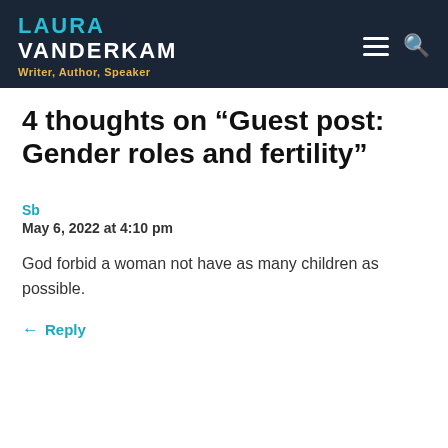LAURA VANDERKAM — Writer, Author, Speaker
4 thoughts on “Guest post: Gender roles and fertility”
Sb
May 6, 2022 at 4:10 pm
God forbid a woman not have as many children as possible.
Reply